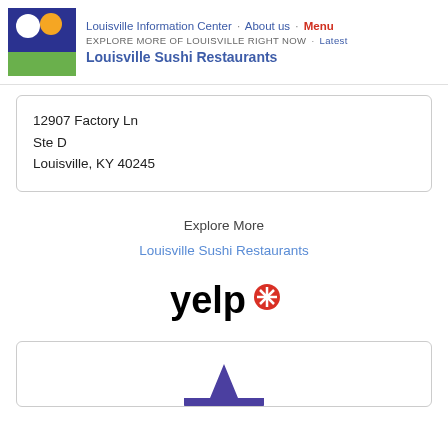Louisville Information Center · About us · Menu
EXPLORE MORE OF LOUISVILLE RIGHT NOW · Latest
Louisville Sushi Restaurants
12907 Factory Ln
Ste D
Louisville, KY 40245
Explore More
Louisville Sushi Restaurants
[Figure (logo): Yelp logo in black text with red burst/asterisk icon]
[Figure (logo): Partial circular logo with purple/indigo star shape at bottom of page]